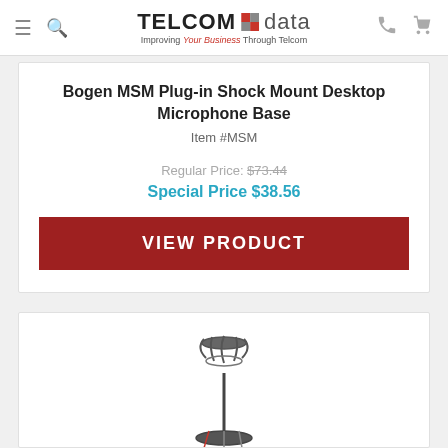TELCOM data — Improving Your Business Through Telcom
Bogen MSM Plug-in Shock Mount Desktop Microphone Base
Item #MSM
Regular Price: $73.44
Special Price $38.56
VIEW PRODUCT
[Figure (photo): Photo of a Bogen MSM plug-in shock mount desktop microphone base, showing the shock mount cage and base in black.]